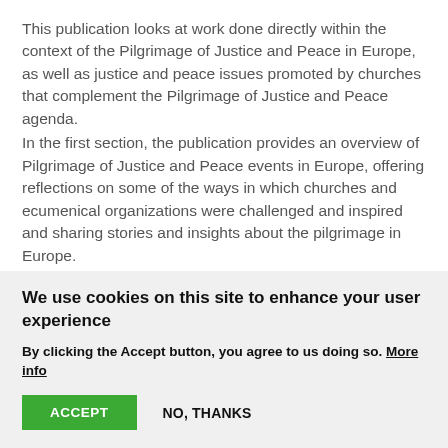This publication looks at work done directly within the context of the Pilgrimage of Justice and Peace in Europe, as well as justice and peace issues promoted by churches that complement the Pilgrimage of Justice and Peace agenda.
In the first section, the publication provides an overview of Pilgrimage of Justice and Peace events in Europe, offering reflections on some of the ways in which churches and ecumenical organizations were challenged and inspired and sharing stories and insights about the pilgrimage in Europe.
Section 2 does not necessarily represent official parts of the Pilgrimage of Justice and Peace but contains
We use cookies on this site to enhance your user experience
By clicking the Accept button, you agree to us doing so. More info
ACCEPT    NO, THANKS